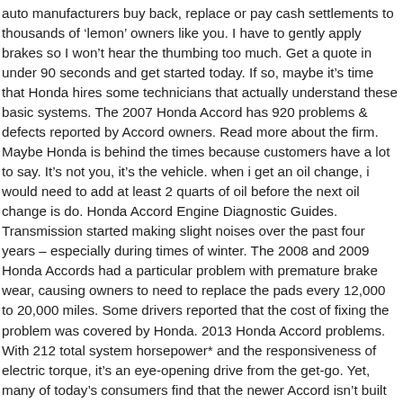auto manufacturers buy back, replace or pay cash settlements to thousands of 'lemon' owners like you. I have to gently apply brakes so I won't hear the thumbing too much. Get a quote in under 90 seconds and get started today. If so, maybe it's time that Honda hires some technicians that actually understand these basic systems. The 2007 Honda Accord has 920 problems & defects reported by Accord owners. Read more about the firm. Maybe Honda is behind the times because customers have a lot to say. It's not you, it's the vehicle. when i get an oil change, i would need to add at least 2 quarts of oil before the next oil change is do. Honda Accord Engine Diagnostic Guides. Transmission started making slight noises over the past four years – especially during times of winter. The 2008 and 2009 Honda Accords had a particular problem with premature brake wear, causing owners to need to replace the pads every 12,000 to 20,000 miles. Some drivers reported that the cost of fixing the problem was covered by Honda. 2013 Honda Accord problems. With 212 total system horsepower* and the responsiveness of electric torque, it's an eye-opening drive from the get-go. Yet, many of today's consumers find that the newer Accord isn't built like those of days gone by. This makes me question whether the seatbolt is going to work in case of an accident. This is a very common